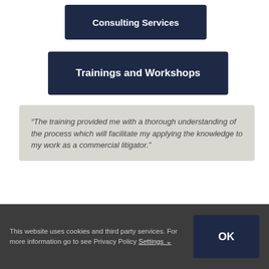Consulting Services
Trainings and Workshops
“The training provided me with a thorough understanding of the process which will facilitate my applying the knowledge to my work as a commercial litigator.”
Clayton Utz Law Firm
This website uses cookies and third party services. For more information go to see Privacy Policy Settings
OK